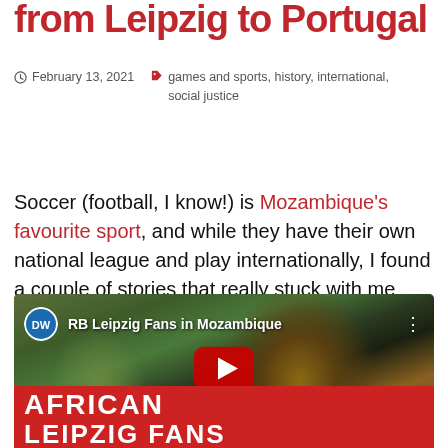from Leipzig to Portugal
February 13, 2021   games and sports, history, international, social justice
Soccer (football, I know!) is Mozambique's favourite sport, and while they have their own national league and play internationally, I found a couple of stories that really stuck with me about Mozambique's international football connections.
[Figure (screenshot): YouTube video thumbnail for 'RB Leipzig Fans in Mozambique' from DW channel, showing a joyful African fan with text overlay 'AFRICAN LEIPZIG FANS']